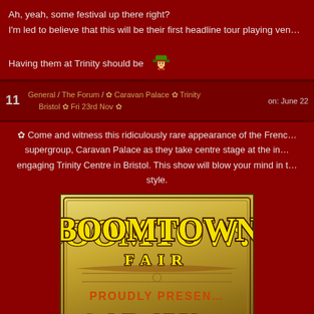Ah, yeah, some festival up there right?
I'm led to believe that this will be their first headline tour playing ven...
Having them at Trinity should be [emoji]
11  General / The Forum / ✿ Caravan Palace ✿ Trinity Bristol ✿ Fri 23rd Nov ✿   on: June 22
✿ Come and witness this ridiculously rare appearance of the French supergroup, Caravan Palace as they take centre stage at the in... engaging Trinity Centre in Bristol. This show will blow your mind in t... style.
[Figure (photo): Boomtown Fair festival poster proudly presenting Caravan Palace, with large yellow decorative font on a golden/sepia background with red text below]